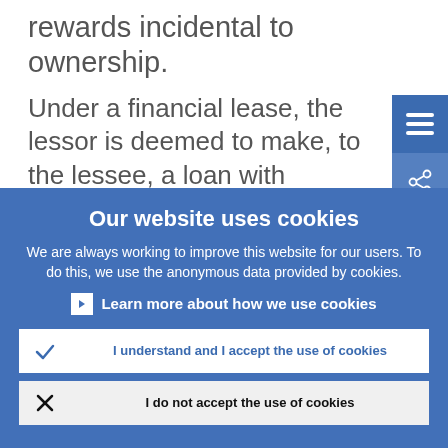rewards incidental to ownership.
Under a financial lease, the lessor is deemed to make, to the lessee, a loan with which the lessee acquires the asset.
Our website uses cookies
We are always working to improve this website for our users. To do this, we use the anonymous data provided by cookies.
Learn more about how we use cookies
I understand and I accept the use of cookies
I do not accept the use of cookies